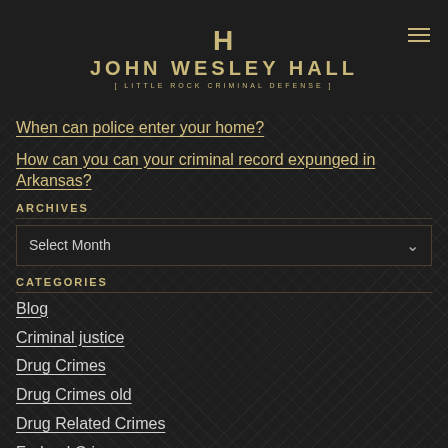H
JOHN WESLEY HALL
[ LITTLE ROCK CRIMINAL DEFENSE ]
When can police enter your home?
How can you can your criminal record expunged in Arkansas?
ARCHIVES
Select Month
CATEGORIES
Blog
Criminal justice
Drug Crimes
Drug Crimes old
Drug Related Crimes
Federal Crimes